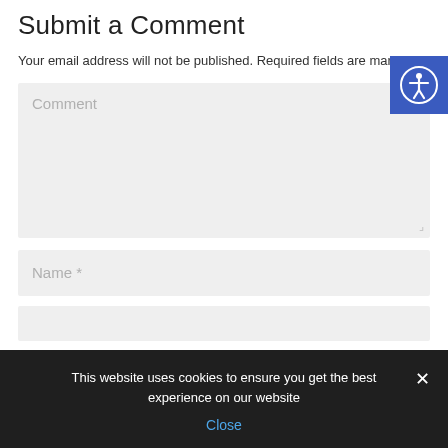Submit a Comment
Your email address will not be published. Required fields are marked *
[Figure (screenshot): Comment text area input field (placeholder text: Comment)]
[Figure (screenshot): Name input field (placeholder text: Name *)]
[Figure (screenshot): Third input field (partially visible)]
This website uses cookies to ensure you get the best experience on our website
Close